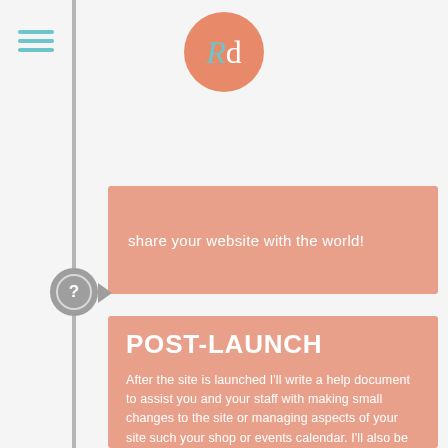[Figure (logo): Circular orange/salmon logo with stylized 'Rd' letters in teal and white on an orange background]
[Figure (other): Hamburger menu icon with three teal horizontal lines]
share your website with the world!
POST-LAUNCH
After the site is launched I'll write a help document to assist you and your staff with making small changes to the site or managing aspects of your site such your shop or events calendar. I'll also be on hand to provide any further updates to the site as required, a service I offer as part of the project cost for a month after launch.